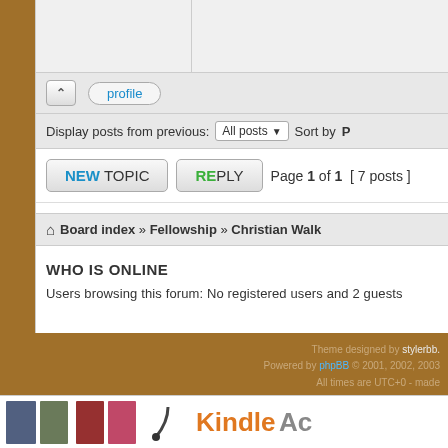profile
Display posts from previous: All posts Sort by P
NEW TOPIC   REPLY   Page 1 of 1  [ 7 posts ]
Board index » Fellowship » Christian Walk
WHO IS ONLINE
Users browsing this forum: No registered users and 2 guests
Search for:   Go
Theme designed by stylerbb. Powered by phpBB © 2001, 2002, 2003 All times are UTC+0 - made
[Figure (advertisement): Kindle Accessories advertisement strip at the bottom with book images and cable]